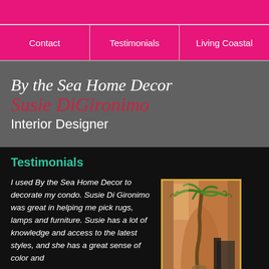Contact | Testimonials | Living Coastal
By the Sea Home Decor
Susie DiGironimo
Interior Designer
Testimonials
I used By the Sea Home Decor to decorate my condo. Susie Di Gironimo was great in helping me pick rugs, lamps and furniture. Susie has a lot of knowledge and access to the latest styles, and she has a great sense of color and
[Figure (photo): Interior room photo showing a tall palm tree plant in a corner, with warm orange/peach walls, curtains, and a dark chair visible in the background]